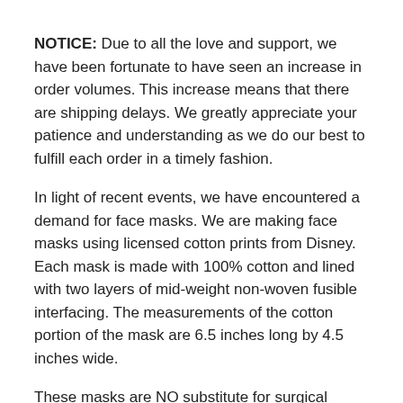NOTICE: Due to all the love and support, we have been fortunate to have seen an increase in order volumes. This increase means that there are shipping delays. We greatly appreciate your patience and understanding as we do our best to fulfill each order in a timely fashion.
In light of recent events, we have encountered a demand for face masks. We are making face masks using licensed cotton prints from Disney. Each mask is made with 100% cotton and lined with two layers of mid-weight non-woven fusible interfacing. The measurements of the cotton portion of the mask are 6.5 inches long by 4.5 inches wide.
These masks are NO substitute for surgical masks or N95 masks which block up to 95% of airborne particulate matter. These act more as a reminder to avoid touching your face and add an extra layer of protection.
Each mask is hand made to order, and one size fits most. There are three styles to choose from! Please pick your front